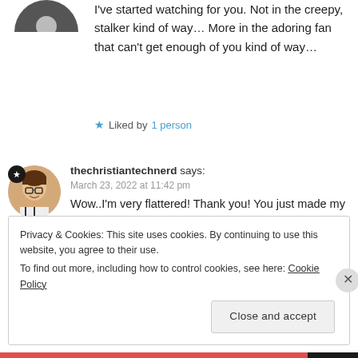I've started watching for you. Not in the creepy, stalker kind of way… More in the adoring fan that can't get enough of you kind of way…
★ Liked by 1 person
thechristiantechnerd says: March 23, 2022 at 11:42 pm
Wow..I'm very flattered! Thank you! You just made my day Shaun!
Privacy & Cookies: This site uses cookies. By continuing to use this website, you agree to their use.
To find out more, including how to control cookies, see here: Cookie Policy